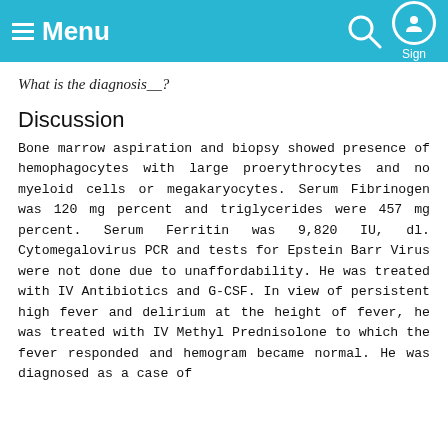Menu
What is the diagnosis__?
Discussion
Bone marrow aspiration and biopsy showed presence of hemophagocytes with large proerythrocytes and no myeloid cells or megakaryocytes. Serum Fibrinogen was 120 mg percent and triglycerides were 457 mg percent. Serum Ferritin was 9,820 IU, dl. Cytomegalovirus PCR and tests for Epstein Barr Virus were not done due to unaffordability. He was treated with IV Antibiotics and G-CSF. In view of persistent high fever and delirium at the height of fever, he was treated with IV Methyl Prednisolone to which the fever responded and hemogram became normal. He was diagnosed as a case of